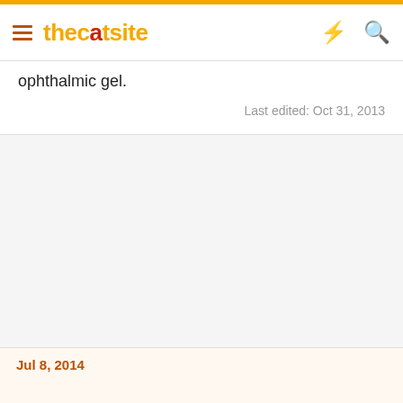thecatsite
ophthalmic gel.
Last edited: Oct 31, 2013
Jul 8, 2014